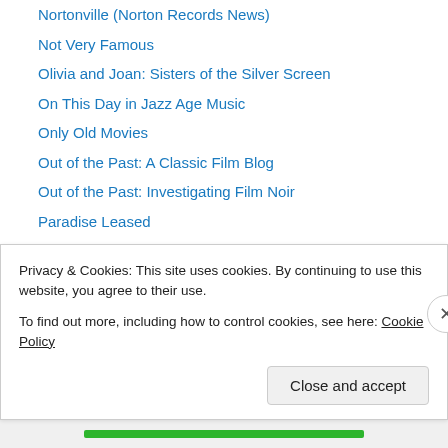Nortonville (Norton Records News)
Not Very Famous
Olivia and Joan: Sisters of the Silver Screen
On This Day in Jazz Age Music
Only Old Movies
Out of the Past: A Classic Film Blog
Out of the Past: Investigating Film Noir
Paradise Leased
Paul D. Brazill's You Would Say That, Wouldn't You?
Paula's Movie Page
Pause. Rewind. Obsess.
Phillipa Fallon
Posture-Pal's Really Bad Movie Blog
Privacy & Cookies: This site uses cookies. By continuing to use this website, you agree to their use. To find out more, including how to control cookies, see here: Cookie Policy
Close and accept